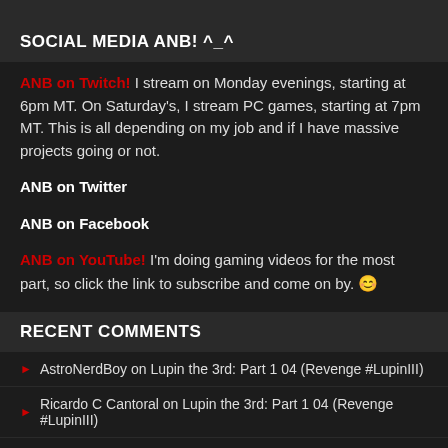ANB! ^_^
SOCIAL MEDIA ANB! ^_^
ANB on Twitch! I stream on Monday evenings, starting at 6pm MT. On Saturday's, I stream PC games, starting at 7pm MT. This is all depending on my job and if I have massive projects going or not.
ANB on Twitter
ANB on Facebook
ANB on YouTube! I'm doing gaming videos for the most part, so click the link to subscribe and come on by. 😊
RECENT COMMENTS
AstroNerdBoy on Lupin the 3rd: Part 1 04 (Revenge #LupinIII)
Ricardo C Cantoral on Lupin the 3rd: Part 1 04 (Revenge #LupinIII)
AstroNerdBoy on Favorites (Anime, Manga, and More)
Gourry on Favorites (Anime, Manga, and More)
AstroNerdBoy on Right Stuf Assimilated By Crunchyroll (Sony)